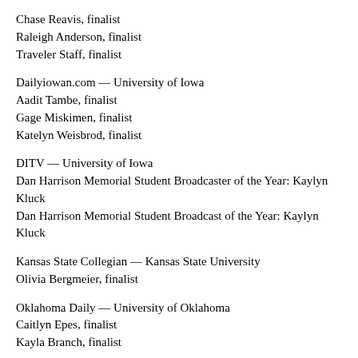Chase Reavis, finalist
Raleigh Anderson, finalist
Traveler Staff, finalist
Dailyiowan.com — University of Iowa
Aadit Tambe, finalist
Gage Miskimen, finalist
Katelyn Weisbrod, finalist
DITV — University of Iowa
Dan Harrison Memorial Student Broadcaster of the Year: Kaylyn Kluck
Dan Harrison Memorial Student Broadcast of the Year: Kaylyn Kluck
Kansas State Collegian — Kansas State University
Olivia Bergmeier, finalist
Oklahoma Daily — University of Oklahoma
Caitlyn Epes, finalist
Kayla Branch, finalist
The Daily Iowan — University of Iowa
Dan Harrison Memorial Student Photographer of the Year: James Year
Dan Harrison Memorial Student Writer of the Year: Marina R...